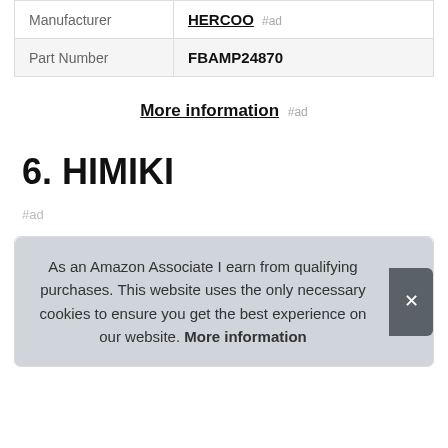| Manufacturer | HERCOO #ad |
| Part Number | FBAMP24870 |
More information #ad
6. HIMIKI
#ad
As an Amazon Associate I earn from qualifying purchases. This website uses the only necessary cookies to ensure you get the best experience on our website. More information